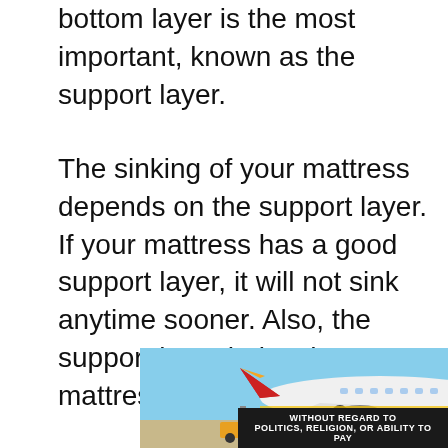bottom layer is the most important, known as the support layer.
The sinking of your mattress depends on the support layer. If your mattress has a good support layer, it will not sink anytime sooner. Also, the support layer helps the mattress retain its shape.
[Figure (photo): Advertisement banner showing an airplane being loaded with cargo, with an orange button element and dark banner text reading 'WITHOUT REGARD TO' in white.]